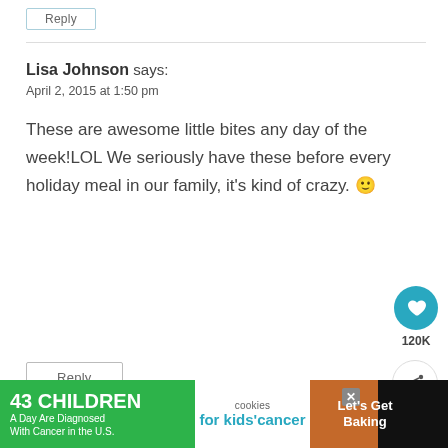Reply
Lisa Johnson says:
April 2, 2015 at 1:50 pm
These are awesome little bites any day of the week!LOL We seriously have these before every holiday meal in our family, it's kind of crazy. 🙂
Reply
[Figure (infographic): Advertisement banner: '43 CHILDREN A Day Are Diagnosed With Cancer in the U.S.' with cookies for kids cancer logo and 'Let's Get Baking' text on brown/green background]